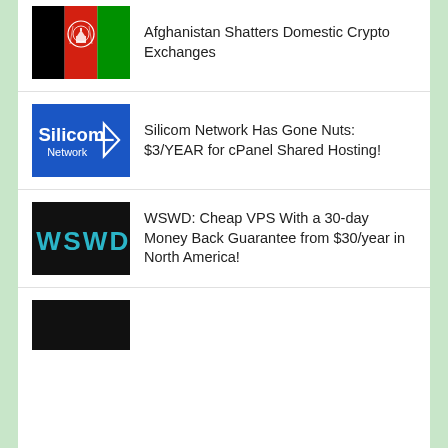[Figure (illustration): Afghanistan flag thumbnail — black, red, green vertical stripes with white emblem]
Afghanistan Shatters Domestic Crypto Exchanges
[Figure (logo): Silicom Network logo — white text and triangle icon on blue background]
Silicom Network Has Gone Nuts: $3/YEAR for cPanel Shared Hosting!
[Figure (logo): WSWD logo — teal/cyan text on black background]
WSWD: Cheap VPS With a 30-day Money Back Guarantee from $30/year in North America!
[Figure (photo): Partial black thumbnail at bottom of page]